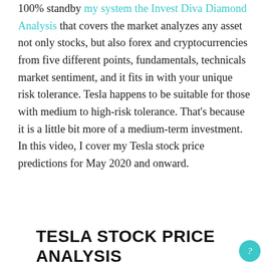100% standby my system the Invest Diva Diamond Analysis that covers the market analyzes any asset not only stocks, but also forex and cryptocurrencies from five different points, fundamentals, technicals market sentiment, and it fits in with your unique risk tolerance. Tesla happens to be suitable for those with medium to high-risk tolerance. That's because it is a little bit more of a medium-term investment. In this video, I cover my Tesla stock price predictions for May 2020 and onward.
TESLA STOCK PRICE ANALYSIS